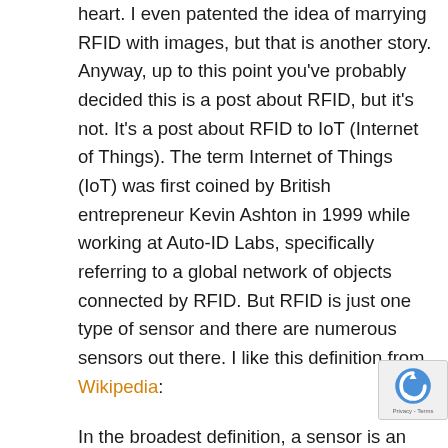heart. I even patented the idea of marrying RFID with images, but that is another story. Anyway, up to this point you've probably decided this is a post about RFID, but it's not. It's a post about RFID to IoT (Internet of Things). The term Internet of Things (IoT) was first coined by British entrepreneur Kevin Ashton in 1999 while working at Auto-ID Labs, specifically referring to a global network of objects connected by RFID. But RFID is just one type of sensor and there are numerous sensors out there. I like this definition from Wikipedia:
In the broadest definition, a sensor is an electronic component, module, or subsystem whose purpose is to detect events or changes in its environment and send the information to other electronics, frequently a computer processor. A sensor is always used with other electronics, whether as simple as a light or as complex as a computer.